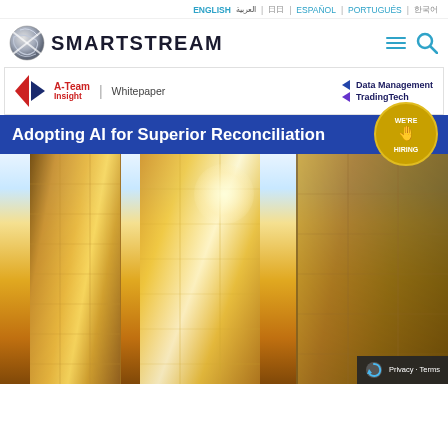ENGLISH العربية 日本語 ESPAÑOL PORTUGUÊS 한국어
[Figure (logo): SmartStream logo with circular globe icon and text SMARTSTREAM, with hamburger menu and search icons]
[Figure (infographic): A-Team Insight Whitepaper banner with Data Management and TradingTech labels on the right]
Adopting AI for Superior Reconciliation
[Figure (photo): Looking-up view of golden glass skyscraper buildings with bright sky]
Privacy · Terms